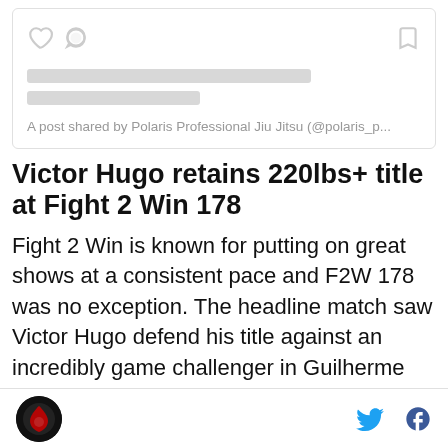[Figure (screenshot): Embedded social media post card placeholder with heart, comment, and bookmark icons and two gray placeholder lines, with caption 'A post shared by Polaris Professional Jiu Jitsu (@polaris_p...']
Victor Hugo retains 220lbs+ title at Fight 2 Win 178
Fight 2 Win is known for putting on great shows at a consistent pace and F2W 178 was no exception. The headline match saw Victor Hugo defend his title against an incredibly game challenger in Guilherme Augusta. The match would end up going to decision
Logo | Twitter | Facebook